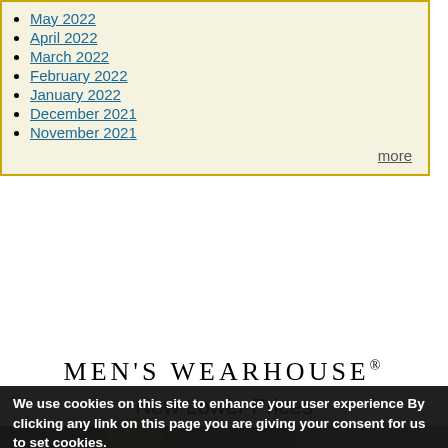May 2022
April 2022
March 2022
February 2022
January 2022
December 2021
November 2021
more
[Figure (screenshot): Men's Wearhouse advertisement banner with text 'MEN'S WEARHOUSE® New Lower Prices' and a photo of a man outdoors with a Privacy settings overlay]
We use cookies on this site to enhance your user experience By clicking any link on this page you are giving your consent for us to set cookies. No, give me more info
OK, I agree   No, thanks